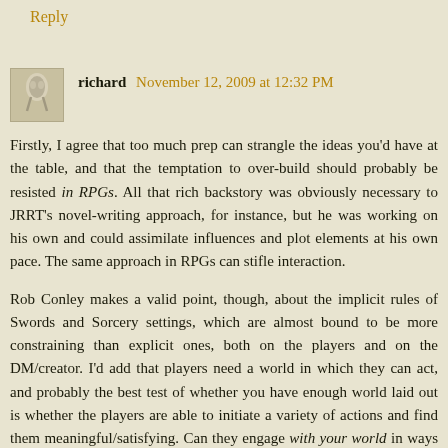Reply
richard November 12, 2009 at 12:32 PM
Firstly, I agree that too much prep can strangle the ideas you'd have at the table, and that the temptation to over-build should probably be resisted in RPGs. All that rich backstory was obviously necessary to JRRT's novel-writing approach, for instance, but he was working on his own and could assimilate influences and plot elements at his own pace. The same approach in RPGs can stifle interaction.
Rob Conley makes a valid point, though, about the implicit rules of Swords and Sorcery settings, which are almost bound to be more constraining than explicit ones, both on the players and on the DM/creator. I'd add that players need a world in which they can act, and probably the best test of whether you have enough world laid out is whether the players are able to initiate a variety of actions and find them meaningful/satisfying. Can they engage with your world in ways that surprise you? (emphasis because I'm not just talking about having them run off in some random